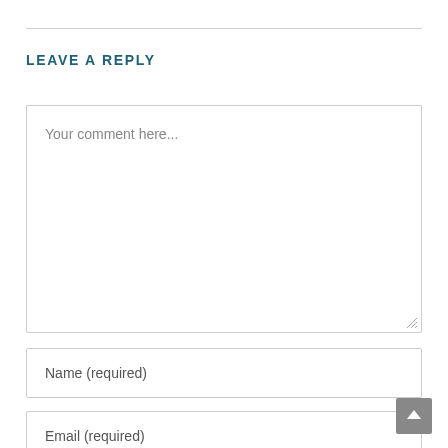LEAVE A REPLY
Your comment here...
Name (required)
Email (required)